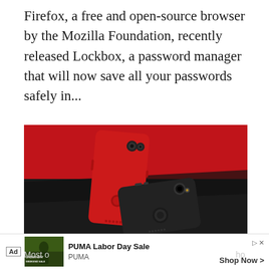Firefox, a free and open-source browser by the Mozilla Foundation, recently released Lockbox, a password manager that will now save all your passwords safely in...
[Figure (photo): Two smartphones — one red and one black — photographed against a red and black background. The red phone is propped upright showing its back with dual camera; the black phone lies flat on a black surface showing its back with fingerprint sensor.]
What is the OnePlus 6 Lockbox and How to Hide [partially obscured]
[Figure (photo): Advertisement banner: PUMA Labor Day Sale. Shows a forest/action image on the left with 'LABOR DAY WEEKEND SALE' text overlay, PUMA brand name, and 'Shop Now >' button on the right.]